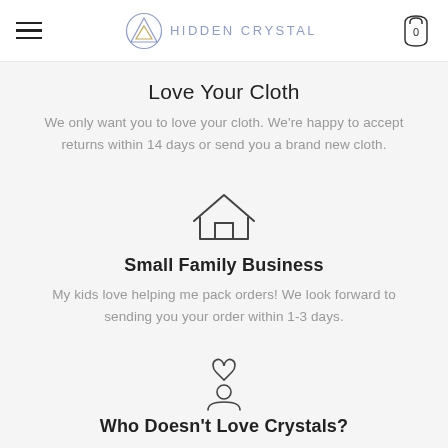HIDDEN CRYSTAL
Love Your Cloth
We only want you to love your cloth. We're happy to accept returns within 14 days or send you a brand new cloth.
[Figure (illustration): House/home outline icon]
Small Family Business
My kids love helping me pack orders! We look forward to sending you your order within 1-3 days.
[Figure (illustration): Person with heart icon above head]
Who Doesn't Love Crystals?